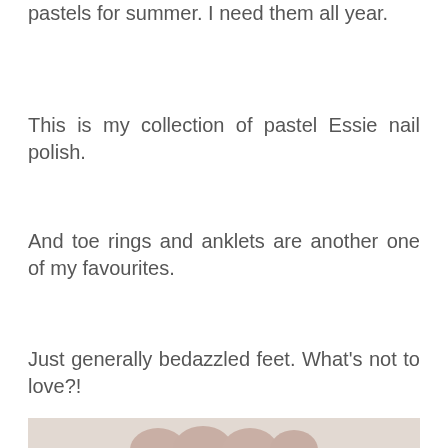pastels for summer. I need them all year.
This is my collection of pastel Essie nail polish.
And toe rings and anklets are another one of my favourites.
Just generally bedazzled feet. What’s not to love?!
[Figure (photo): Bottom of page shows top portion of a photograph of feet/nails with pastel nail polish, partially cropped.]